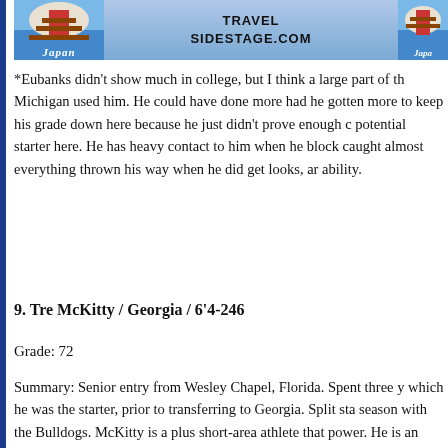[Figure (other): Advertisement banner for Japan travel - SideStage.com with Japanese pagoda imagery]
*Eubanks didn't show much in college, but I think a large part of th... Michigan used him. He could have done more had he gotten more... to keep his grade down here because he just didn't prove enough ... potential starter here. He has heavy contact to him when he block... caught almost everything thrown his way when he did get looks, a... ability.
9. Tre McKitty / Georgia / 6'4-246
Grade: 72
Summary: Senior entry from Wesley Chapel, Florida. Spent three y... which he was the starter, prior to transferring to Georgia. Split sta... season with the Bulldogs. McKitty is a plus short-area athlete that ... power. He is an effective space-blocker that can be moved around ... comfortable pass catcher, one that can get to balls away from his b... pro's game that can be used on every down with the upside of bei... end at the next level.